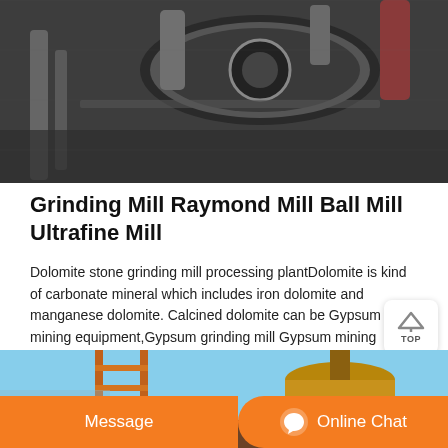[Figure (photo): Industrial grinding mill machinery close-up, dark mechanical components]
Grinding Mill Raymond Mill Ball Mill Ultrafine Mill
Dolomite stone grinding mill processing plantDolomite is kind of carbonate mineral which includes iron dolomite and manganese dolomite. Calcined dolomite can be Gypsum mining equipment,Gypsum grinding mill Gypsum mining equipment,Gypsum grinding millGypsum is a very useful processed material.
[Figure (photo): Industrial mill equipment outdoors against blue sky, orange ladder and cylindrical tank visible]